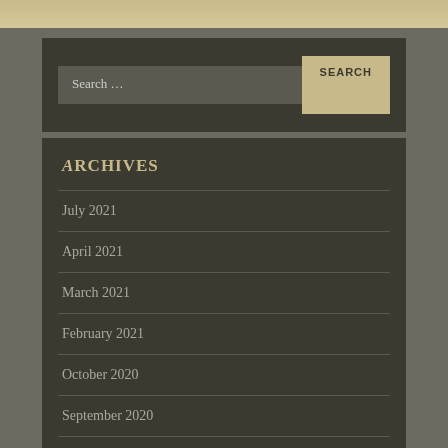[Figure (other): Top decorative image strip with beige/tan color]
Search …
Archives
July 2021
April 2021
March 2021
February 2021
October 2020
September 2020
June 2020